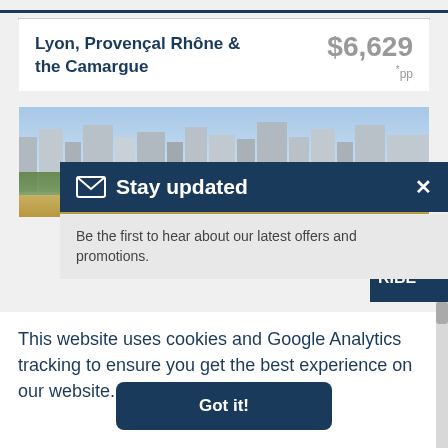Lyon, Provençal Rhône & the Camargue
$6,629 *pp
[Figure (photo): Aerial view of a city with buildings and green trees near a river]
✉ Stay updated  ×
Be the first to hear about our latest offers and promotions.
RIBE
This website uses cookies and Google Analytics tracking to ensure you get the best experience on our website. Learn more
Got it!